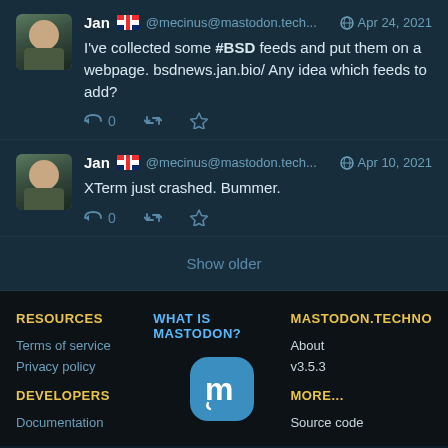Jan @mecinus@mastodon.tech... Apr 24, 2021 — I've collected some #BSD feeds and put them on a webpage. bsdnews.jan.bio/ Any idea which feeds to add?
Jan @mecinus@mastodon.tech... Apr 10, 2021 — XTerm just crashed. Bummer.
Show older
RESOURCES
Terms of service
Privacy policy
DEVELOPERS
Documentation
WHAT IS MASTODON?
[Figure (logo): Mastodon logo — white 'm' letter on teal rounded square background]
MASTODON.TECHNO
About
v3.5.3
MORE...
Source code